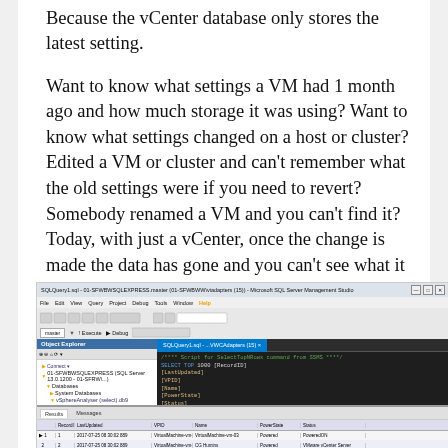Because the vCenter database only stores the latest setting.
Want to know what settings a VM had 1 month ago and how much storage it was using? Want to know what settings changed on a host or cluster? Edited a VM or cluster and can't remember what the old settings were if you need to revert? Somebody renamed a VM and you can't find it? Today, with just a vCenter, once the change is made the data has gone and you can't see what it was before.
[Figure (screenshot): Screenshot of Microsoft SQL Server Management Studio showing a SQL query with SELECT TOP 1000 statement querying various VM fields like LastUpdated, VPID, Name, PowerState, Status, GuestC, NumCpu, CorePerSocket, MemoryGB, VMwareID, VMHost, VApp, FolderID. The results panel shows two rows of VM data.]